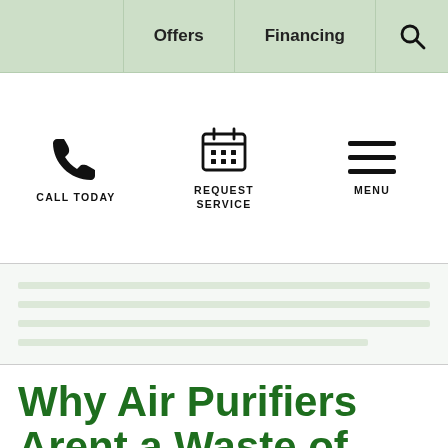Offers | Financing | Search
[Figure (other): Navigation icons: phone handset (CALL TODAY), calendar grid (REQUEST SERVICE), hamburger menu (MENU)]
[Figure (other): Breadcrumb / placeholder content lines in light green background]
Why Air Purifiers Arent a Waste of Money